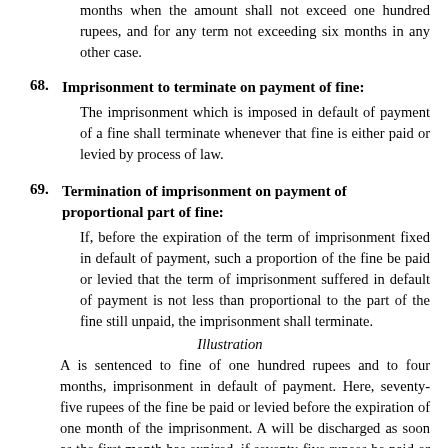months when the amount shall not exceed one hundred rupees, and for any term not exceeding six months in any other case.
68. Imprisonment to terminate on payment of fine:
The imprisonment which is imposed in default of payment of a fine shall terminate whenever that fine is either paid or levied by process of law.
69. Termination of imprisonment on payment of proportional part of fine:
If, before the expiration of the term of imprisonment fixed in default of payment, such a proportion of the fine be paid or levied that the term of imprisonment suffered in default of payment is not less than proportional to the part of the fine still unpaid, the imprisonment shall terminate.
Illustration
A is sentenced to fine of one hundred rupees and to four months, imprisonment in default of payment. Here, seventy-five rupees of the fine be paid or levied before the expiration of one month of the imprisonment. A will be discharged as soon as the first month has expired, if seventy-five rupees be paid or levied at the time of the expiration of the first month, or at any later time while A continues imprisonment. A will be immediately discharged, if fifty rupees of the fine be paid or